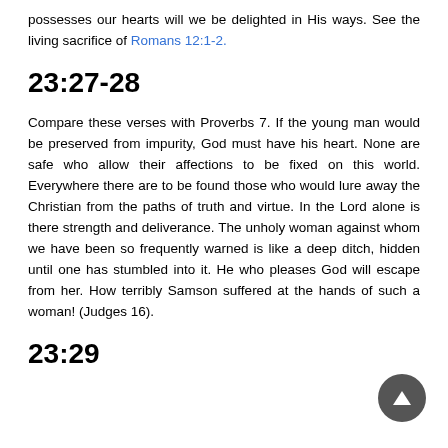possesses our hearts will we be delighted in His ways. See the living sacrifice of Romans 12:1-2.
23:27-28
Compare these verses with Proverbs 7. If the young man would be preserved from impurity, God must have his heart. None are safe who allow their affections to be fixed on this world. Everywhere there are to be found those who would lure away the Christian from the paths of truth and virtue. In the Lord alone is there strength and deliverance. The unholy woman against whom we have been so frequently warned is like a deep ditch, hidden until one has stumbled into it. He who pleases God will escape from her. How terribly Samson suffered at the hands of such a woman! (Judges 16).
23:29